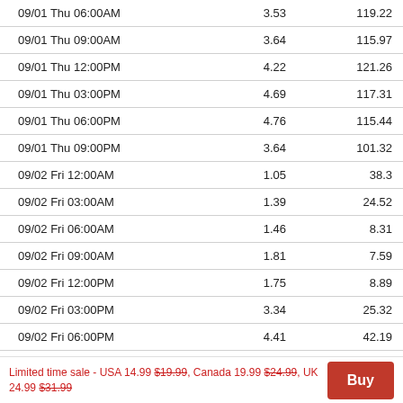| Date/Time | Col2 | Col3 |
| --- | --- | --- |
| 09/01 Thu 06:00AM | 3.53 | 119.22 |
| 09/01 Thu 09:00AM | 3.64 | 115.97 |
| 09/01 Thu 12:00PM | 4.22 | 121.26 |
| 09/01 Thu 03:00PM | 4.69 | 117.31 |
| 09/01 Thu 06:00PM | 4.76 | 115.44 |
| 09/01 Thu 09:00PM | 3.64 | 101.32 |
| 09/02 Fri 12:00AM | 1.05 | 38.3 |
| 09/02 Fri 03:00AM | 1.39 | 24.52 |
| 09/02 Fri 06:00AM | 1.46 | 8.31 |
| 09/02 Fri 09:00AM | 1.81 | 7.59 |
| 09/02 Fri 12:00PM | 1.75 | 8.89 |
| 09/02 Fri 03:00PM | 3.34 | 25.32 |
| 09/02 Fri 06:00PM | 4.41 | 42.19 |
Limited time sale - USA 14.99 $19.99, Canada 19.99 $24.99, UK 24.99 $31.99